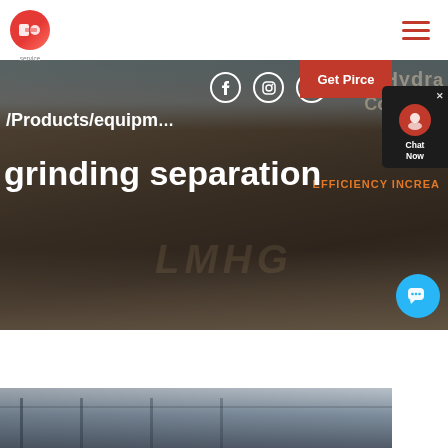[Figure (screenshot): Website header with red circular logo and hamburger menu icon on the right]
[Figure (photo): Industrial mining/crushing equipment site with conveyors and machinery. Hero banner with text overlays: '/Products/equipm grinding separation', social media icons (Facebook, Instagram, LinkedIn), Get Price button, chat widget, and HPT Hydraulic Cone Crusher branding in background]
[Figure (photo): Bottom strip showing interior of industrial building or facility]